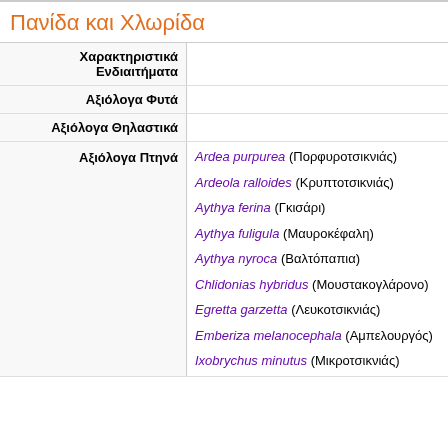Πανίδα και Χλωρίδα
|  |  |
| --- | --- |
| Χαρακτηριστικά Ενδιαιτήματα |  |
| Αξιόλογα Φυτά |  |
| Αξιόλογα Θηλαστικά |  |
| Αξιόλογα Πτηνά | Ardea purpurea (Πορφυροτσικνιάς)
Ardeola ralloides (Κρυπτοτσικνιάς)
Aythya ferina (Γκισάρι)
Aythya fuligula (Μαυροκέφαλη)
Aythya nyroca (Βαλτόπαπια)
Chlidonias hybridus (Μουστακογλάρονο)
Egretta garzetta (Λευκοτσικνιάς)
Emberiza melanocephala (Αμπελουργός)
Ixobrychus minutus (Μικροτσικνιάς) |